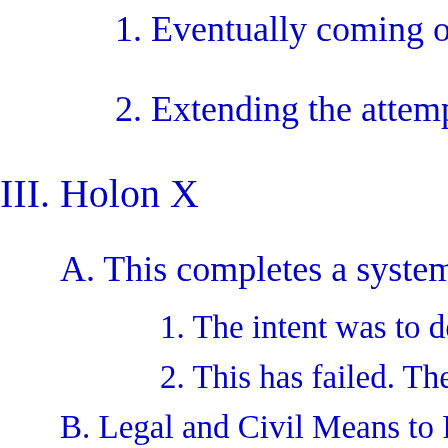1. Eventually coming out gay late in
2. Extending the attempt to expand C
III. Holon X
A. This completes a system of 10 Holons
1. The intent was to develop a LGBT
2. This has failed. The model and the
B. Legal and Civil Means to Prosecute Pr
1. RICO Structure
2. DIRECT COMPLAINTS TO CO